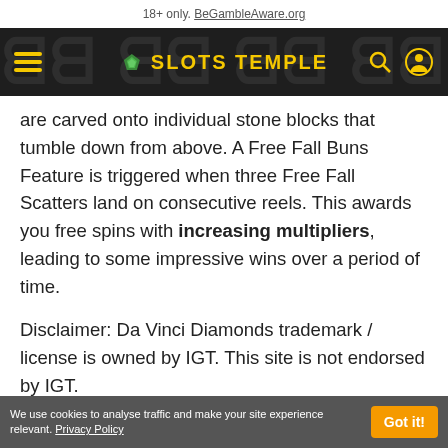18+ only. BeGambleAware.org
[Figure (screenshot): Slots Temple website navigation bar with hamburger menu icon, Slots Temple logo with gem icon, search icon, and user icon on dark background]
are carved onto individual stone blocks that tumble down from above. A Free Fall Buns Feature is triggered when three Free Fall Scatters land on consecutive reels. This awards you free spins with increasing multipliers, leading to some impressive wins over a period of time.
Disclaimer: Da Vinci Diamonds trademark / license is owned by IGT. This site is not endorsed by IGT.
* This button takes you to an external third-party partner real money casino website
We use cookies to analyse traffic and make your site experience relevant. Privacy Policy  Got it!